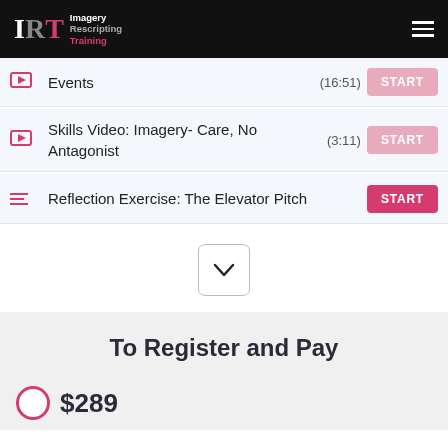Imagery Rescripting Training
Events (16:51) START
Skills Video: Imagery- Care, No Antagonist (3:11) START
Reflection Exercise: The Elevator Pitch START
To Register and Pay
$289